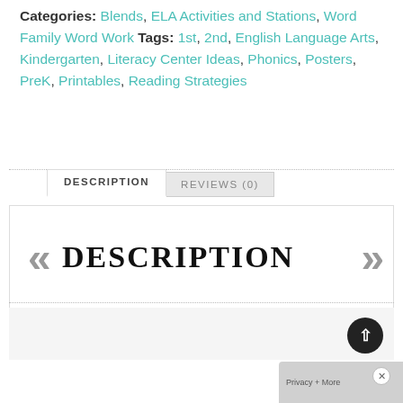Categories: Blends, ELA Activities and Stations, Word Family Word Work Tags: 1st, 2nd, English Language Arts, Kindergarten, Literacy Center Ideas, Phonics, Posters, PreK, Printables, Reading Strategies
DESCRIPTION
REVIEWS (0)
DESCRIPTION